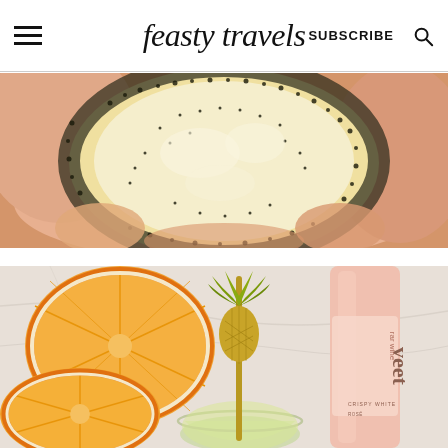feasty travels | SUBSCRIBE
[Figure (photo): Close-up of a hand holding a poppy seed bagel with cream cheese, showing the seeds and creamy filling in detail against a light background.]
[Figure (photo): Flat-lay style photo showing halved oranges, a gold pineapple cocktail stirrer, a glass with a drink, and a pink wine bottle labeled 'sweet rosé wine' on a marble surface.]